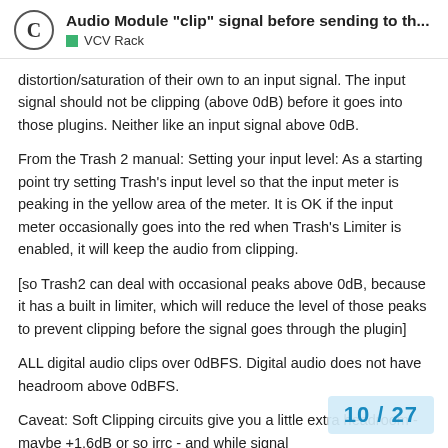Audio Module “clip” signal before sending to th...
VCV Rack
distortion/saturation of their own to an input signal. The input signal should not be clipping (above 0dB) before it goes into those plugins. Neither like an input signal above 0dB.
From the Trash 2 manual: Setting your input level: As a starting point try setting Trash’s input level so that the input meter is peaking in the yellow area of the meter. It is OK if the input meter occasionally goes into the red when Trash’s Limiter is enabled, it will keep the audio from clipping.
[so Trash2 can deal with occasional peaks above 0dB, because it has a built in limiter, which will reduce the level of those peaks to prevent clipping before the signal goes through the plugin]
ALL digital audio clips over 0dBFS. Digital audio does not have headroom above 0dBFS.
Caveat: Soft Clipping circuits give you a little extra headroom - maybe +1.6dB or so irrc - and while signal it will clip ‘nicely’ as opposed to harsh ‘flat
10 / 27